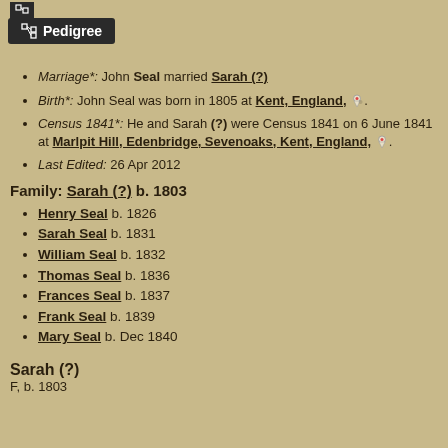Pedigree
Marriage*: John Seal married Sarah (?)
Birth*: John Seal was born in 1805 at Kent, England,
Census 1841*: He and Sarah (?) were Census 1841 on 6 June 1841 at Marlpit Hill, Edenbridge, Sevenoaks, Kent, England,
Last Edited: 26 Apr 2012
Family: Sarah (?) b. 1803
Henry Seal b. 1826
Sarah Seal b. 1831
William Seal b. 1832
Thomas Seal b. 1836
Frances Seal b. 1837
Frank Seal b. 1839
Mary Seal b. Dec 1840
Sarah (?)
F, b. 1803